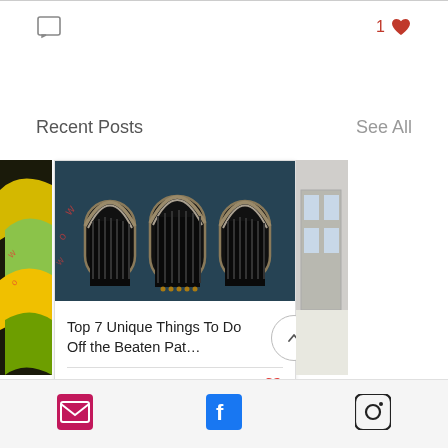[Figure (screenshot): Comment icon (speech bubble outline)]
1 ♥
Recent Posts
See All
[Figure (photo): Partial view of a colorful graffiti/mural image on the left side]
[Figure (photo): Photo of an ornate building facade with three arched doorways/windows with decorative metalwork, dark teal color]
[Figure (photo): Partial view of a building exterior on the right side]
Top 7 Unique Things To Do Off the Beaten Pat…
[Figure (screenshot): Comment icon with count 0]
0
[Figure (screenshot): Heart/like icon (red outline)]
[Figure (logo): Email envelope icon (pink/magenta)]
[Figure (logo): Facebook logo (blue F)]
[Figure (logo): Instagram logo (camera outline)]